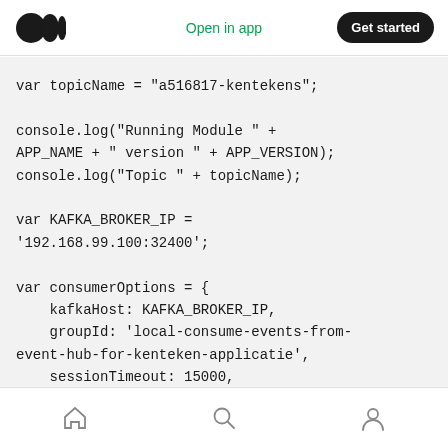Open in app | Get started
[Figure (screenshot): Medium app header with logo, 'Open in app' link in green, and 'Get started' black rounded button]
var topicName = "a516817-kentekens";

console.log("Running Module " + APP_NAME + " version " + APP_VERSION);
console.log("Topic " + topicName);

var KAFKA_BROKER_IP = '192.168.99.100:32400';

var consumerOptions = {
    kafkaHost: KAFKA_BROKER_IP,
    groupId: 'local-consume-events-from-event-hub-for-kenteken-applicatie',
    sessionTimeout: 15000,
    protocol: ['roundrobin'],
    fromOffset: 'earliest' // equivalent
Home | Search | Profile